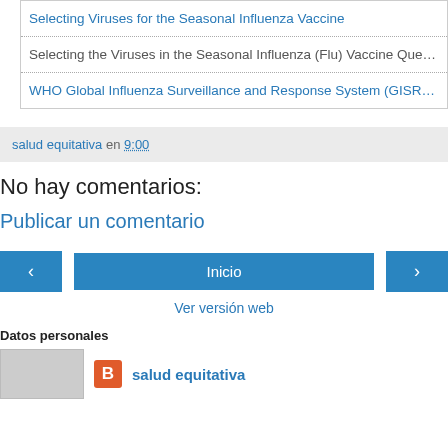Selecting Viruses for the Seasonal Influenza Vaccine (strikethrough link)
Selecting the Viruses in the Seasonal Influenza (Flu) Vaccine Que…
WHO Global Influenza Surveillance and Response System (GISR…)
salud equitativa en 9:00
No hay comentarios:
Publicar un comentario
‹ Inicio ›
Ver versión web
Datos personales
salud equitativa